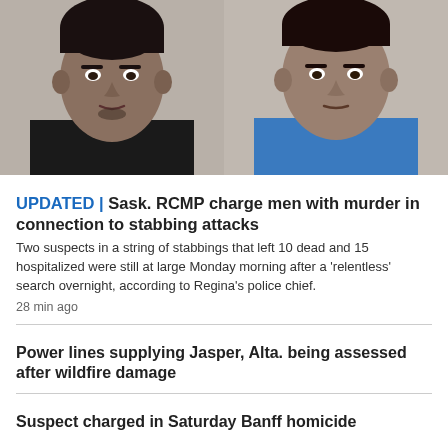[Figure (photo): Two male suspects shown in side-by-side mugshot-style photos. Left person wears a black shirt; right person wears a blue shirt.]
UPDATED | Sask. RCMP charge men with murder in connection to stabbing attacks
Two suspects in a string of stabbings that left 10 dead and 15 hospitalized were still at large Monday morning after a 'relentless' search overnight, according to Regina's police chief.
28 min ago
Power lines supplying Jasper, Alta. being assessed after wildfire damage
Suspect charged in Saturday Banff homicide